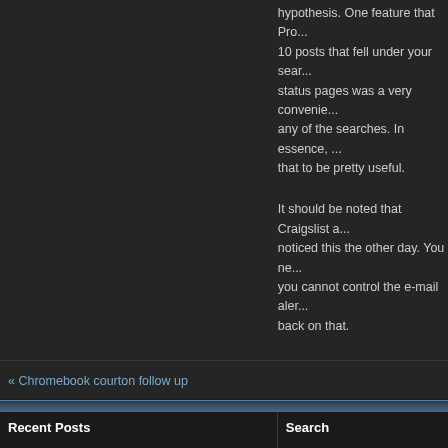hypothesis. One feature that Pro... 10 posts that fell under your search... status pages was a very convenie... any of the searches. In essence, ... that to be pretty useful.
It should be noted that Craigslist a... noticed this the other day. You ne... you cannot control the e-mail aler... back on that.
Anyways, that is all for now. It wa... to be putting this one away. While... continue to dabble with it from tim... getting a cease and desist from th...
« Chromebook courton follow up
Recent Posts
Search